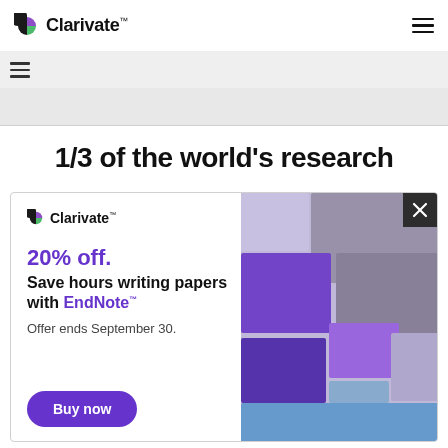Clarivate™
[Figure (logo): Clarivate logo with purple/green icon and wordmark]
1/3 of the world's research
[Figure (infographic): Clarivate advertisement popup: 20% off. Save hours writing papers with EndNote™. Offer ends September 30. Buy now button. Right side shows abstract 3D purple/blue/grey geometric shapes.]